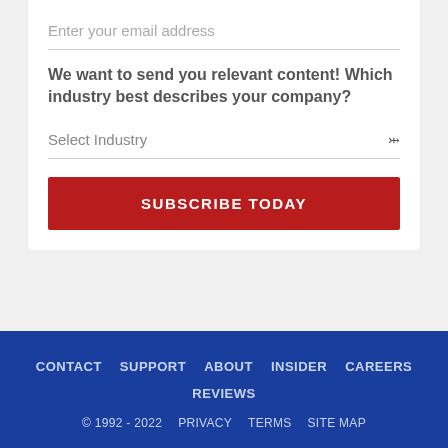Enter your email address
We want to send you relevant content! Which industry best describes your company?
Select Industry
SUBSCRIBE TODAY
CONTACT   SUPPORT   ABOUT   INSIDER   CAREERS   REVIEWS   © 1992 - 2022 PRIVACY   TERMS   SITE MAP